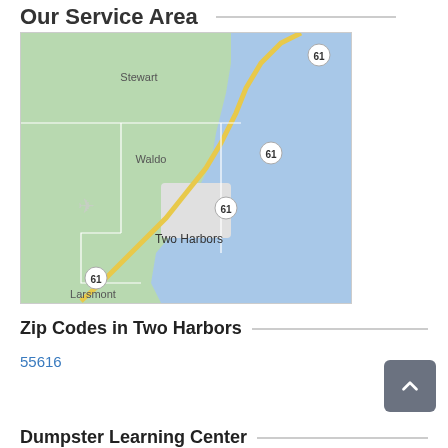Our Service Area
[Figure (map): Google Maps style map showing the Two Harbors area in Minnesota, with regions labeled Stewart, Waldo, Two Harbors, and Larsmont. Highway 61 runs diagonally along the Lake Superior coastline. Land is green, water is blue.]
Zip Codes in Two Harbors
55616
Dumpster Learning Center